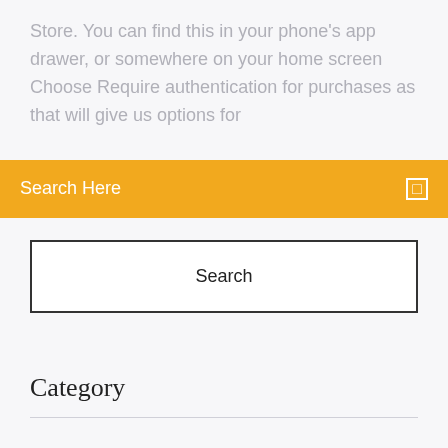Store. You can find this in your phone's app drawer, or somewhere on your home screen Choose Require authentication for purchases as that will give us options for
Search Here
[Figure (screenshot): Search button UI element with black border on light background, centered text 'Search']
Category